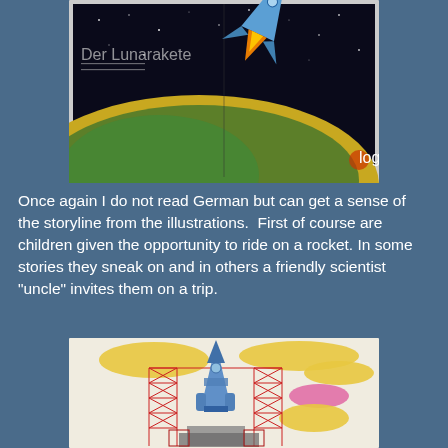[Figure (illustration): Open book spread showing a blue rocket launching from Earth against a dark starry background with yellow/green planetary surface visible]
Once again I do not read German but can get a sense of the storyline from the illustrations.  First of course are children given the opportunity to ride on a rocket. In some stories they sneak on and in others a friendly scientist "uncle" invites them on a trip.
[Figure (illustration): Illustration of a blue rocket on a red launch gantry/scaffold structure against a light background with yellow cloud-like shapes and a pink oval shape, with grey structures at the base]